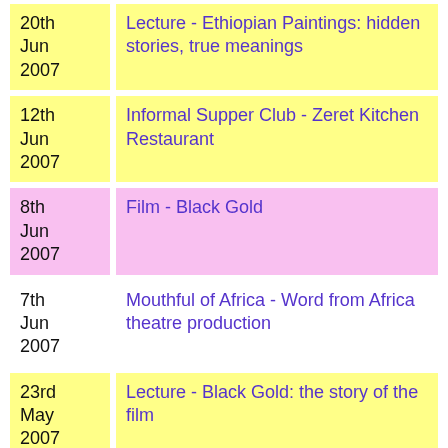| Date | Event |
| --- | --- |
| 20th Jun 2007 | Lecture - Ethiopian Paintings: hidden stories, true meanings |
| 12th Jun 2007 | Informal Supper Club - Zeret Kitchen Restaurant |
| 8th Jun 2007 | Film - Black Gold |
| 7th Jun 2007 | Mouthful of Africa - Word from Africa theatre production |
| 23rd May 2007 | Lecture - Black Gold: the story of the film |
| 23rd May 2007 | Annual General Meeting - Members Only |
| 15th May | Informal Supper Club - Demera Restaurant - |